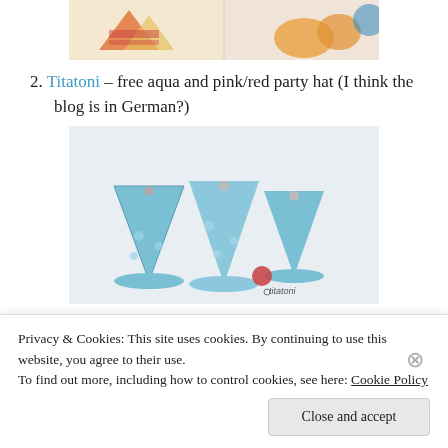[Figure (photo): Partial top image showing party decorations and food items]
2. Titatoni – free aqua and pink/red party hat (I think the blog is in German?)
[Figure (photo): Three aqua/light blue party hats on a white background with a small red element, branded titatoni]
3. The TomKat Studio – free, chevron, party circles
[Figure (photo): The TomKat Studio - Printable Party Circles header with colorful chevron party circles]
Privacy & Cookies: This site uses cookies. By continuing to use this website, you agree to their use.
To find out more, including how to control cookies, see here: Cookie Policy